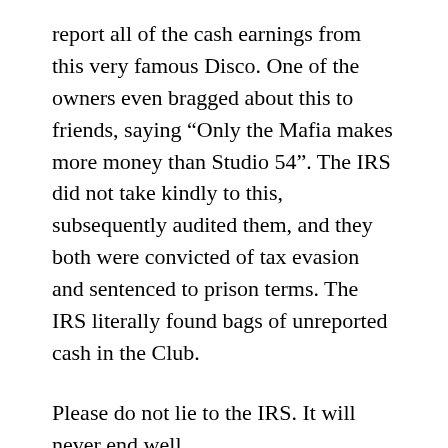report all of the cash earnings from this very famous Disco. One of the owners even bragged about this to friends, saying “Only the Mafia makes more money than Studio 54”. The IRS did not take kindly to this, subsequently audited them, and they both were convicted of tax evasion and sentenced to prison terms. The IRS literally found bags of unreported cash in the Club.
Please do not lie to the IRS. It will never end well.
This is why the IRS or the States audit taxpayers to prove tax compliance. They see an irregularity or inconsistency in the tax returns,